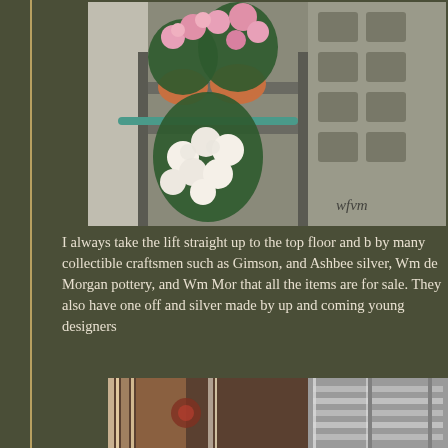[Figure (photo): Photo of pink and white roses in terracotta pots on a grey wooden plant stand, with 'wfvm' watermark in lower right corner. Pavement/grating visible in background.]
I always take the lift straight up to the top floor and b by many collectible craftsmen such as Gimson, and Ashbee silver, Wm de Morgan pottery, and Wm Mor that all the items are for sale. They also have one off and silver made by up and coming young designers
[Figure (photo): Photo of the interior of what appears to be a lift/elevator with metallic reflective surfaces and horizontal bars visible.]